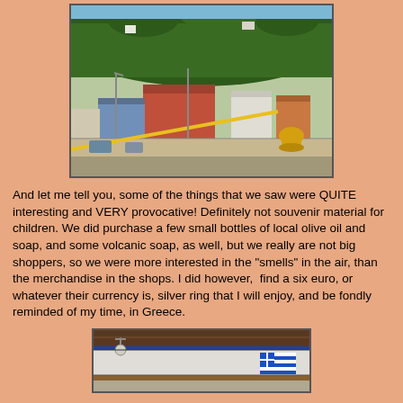[Figure (photo): View of a Greek harbor town from the water, showing colorful buildings (red, blue, white) against a forested hillside, with a yellow bollard or equipment in the foreground right]
And let me tell you, some of the things that we saw were QUITE interesting and VERY provocative! Definitely not souvenir material for children. We did purchase a few small bottles of local olive oil and soap, and some volcanic soap, as well, but we really are not big shoppers, so we were more interested in the "smells" in the air, than the merchandise in the shops. I did however,  find a six euro, or whatever their currency is, silver ring that I will enjoy, and be fondly reminded of my time, in Greece.
[Figure (photo): Partial view of a boat or dock structure with blue and white elements, likely a Greek harbor scene]